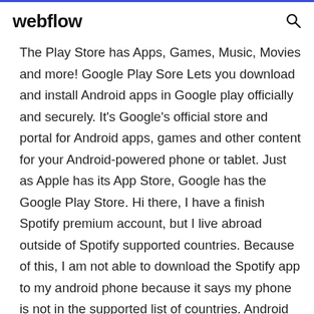webflow
The Play Store has Apps, Games, Music, Movies and more! Google Play Sore Lets you download and install Android apps in Google play officially and securely. It's Google's official store and portal for Android apps, games and other content for your Android-powered phone or tablet. Just as Apple has its App Store, Google has the Google Play Store. Hi there, I have a finish Spotify premium account, but I live abroad outside of Spotify supported countries. Because of this, I am not able to download the Spotify app to my android phone because it says my phone is not in the supported list of countries. Android is no doubt an awesome mobile operating system with......